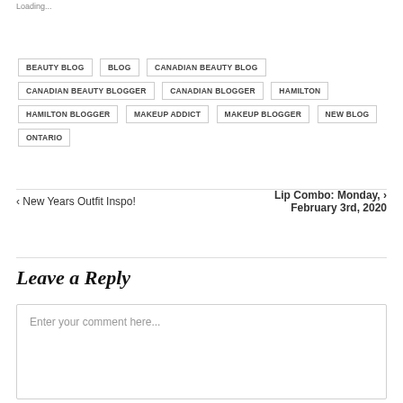Loading...
BEAUTY BLOG
BLOG
CANADIAN BEAUTY BLOG
CANADIAN BEAUTY BLOGGER
CANADIAN BLOGGER
HAMILTON
HAMILTON BLOGGER
MAKEUP ADDICT
MAKEUP BLOGGER
NEW BLOG
ONTARIO
< New Years Outfit Inspo!
Lip Combo: Monday, February 3rd, 2020 >
Leave a Reply
Enter your comment here...